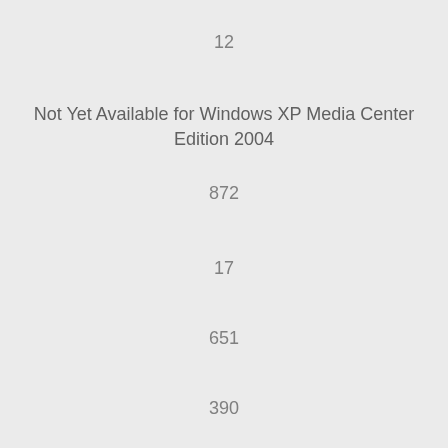12
Not Yet Available for Windows XP Media Center Edition 2004
872
17
651
390